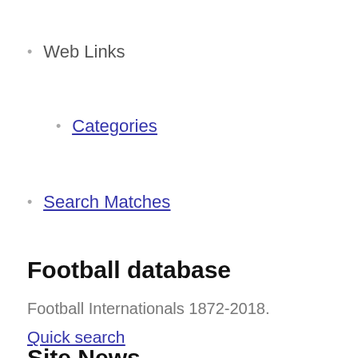Web Links
Categories
Search Matches
Football database
Football Internationals 1872-2018.
Quick search
Site News
Hosting the site costs me money. Please